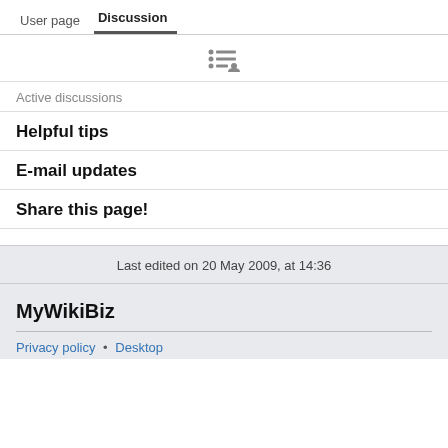User page  Discussion
[Figure (other): List/user icon (bullet list with person icon)]
Active discussions
Helpful tips
E-mail updates
Share this page!
Last edited on 20 May 2009, at 14:36
MyWikiBiz
Privacy policy • Desktop